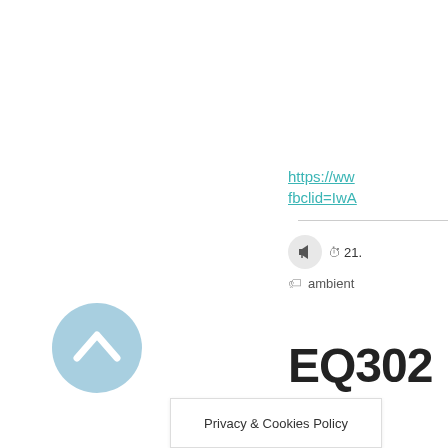https://www...fbclid=IwA...
21.
ambient
EQ302
[Figure (illustration): Light blue circular button with upward-pointing chevron arrow icon]
Privacy & Cookies Policy